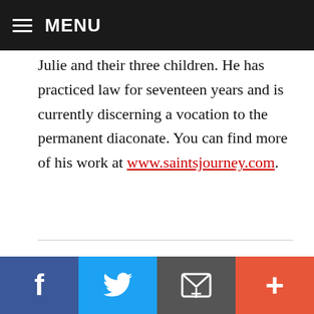MENU
Julie and their three children. He has practiced law for seventeen years and is currently discerning a vocation to the permanent diaconate. You can find more of his work at www.saintsjourney.com.
SUBSCRIBE TO CE (IT'S FREE)
Email Address